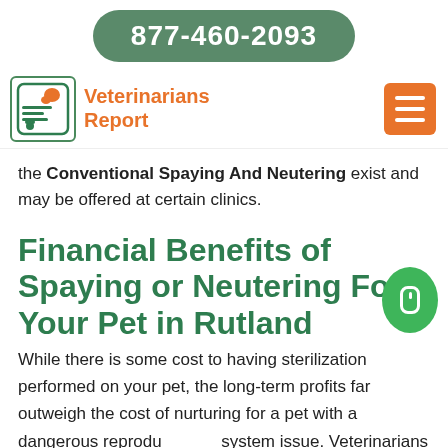877-460-2093
[Figure (logo): Veterinarians Report logo with pet and document icons, orange hamburger menu button]
the Conventional Spaying And Neutering exist and may be offered at certain clinics.
Financial Benefits of Spaying or Neutering For Your Pet in Rutland
While there is some cost to having sterilization performed on your pet, the long-term profits far outweigh the cost of nurturing for a pet with a dangerous reproductive system issue. Veterinarians Report Rutland city Rutland city reliably performs Spaying And